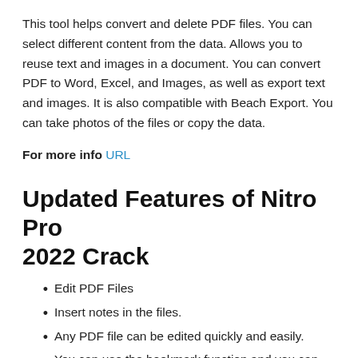This tool helps convert and delete PDF files. You can select different content from the data. Allows you to reuse text and images in a document. You can convert PDF to Word, Excel, and Images, as well as export text and images. It is also compatible with Beach Export. You can take photos of the files or copy the data.
For more info URL
Updated Features of Nitro Pro 2022 Crack
Edit PDF Files
Insert notes in the files.
Any PDF file can be edited quickly and easily.
You can use the bookmark function and you can